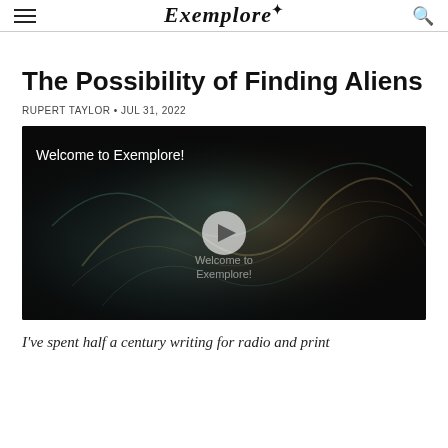Exemplore
The Possibility of Finding Aliens
RUPERT TAYLOR • JUL 31, 2022
[Figure (screenshot): Video thumbnail with dark swirling smoke/energy background. Top-left text reads 'Welcome to Exemplore!' and center overlay shows play button with 'Welcome to Exemplore!' text.]
I've spent half a century writing for radio and print